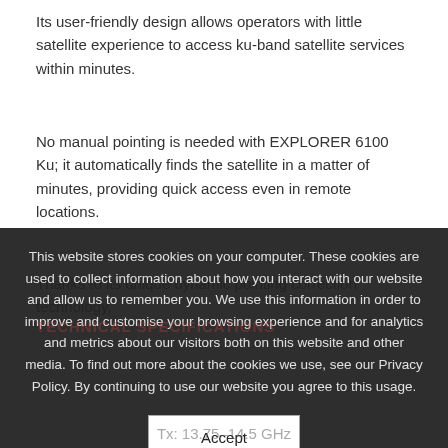Its user-friendly design allows operators with little satellite experience to access ku-band satellite services within minutes.
No manual pointing is needed with EXPLORER 6100 Ku; it automatically finds the satellite in a matter of minutes, providing quick access even in remote locations.
Thanks to its unique dynamic pointing correction technology,
This website stores cookies on your computer. These cookies are used to collect information about how you interact with our website and allow us to remember you. We use this information in order to improve and customise your browsing experience and for analytics and metrics about our visitors both on this website and other media. To find out more about the cookies we use, see our Privacy Policy. By continuing to use our website you agree to this usage.
TECHNICAL SPECIFICATIONS
Frequency
Tx: 13.75–14.5 GHz